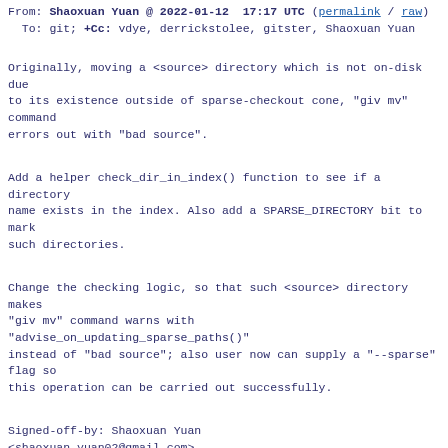From: Shaoxuan Yuan @ 2022-01-12 17:17 UTC (permalink / raw)
  To: git; +Cc: vdye, derrickstolee, gitster, Shaoxuan Yuan
Originally, moving a <source> directory which is not on-disk due
to its existence outside of sparse-checkout cone, "giv mv" command
errors out with "bad source".
Add a helper check_dir_in_index() function to see if a directory
name exists in the index. Also add a SPARSE_DIRECTORY bit to mark
such directories.
Change the checking logic, so that such <source> directory makes
"giv mv" command warns with
"advise_on_updating_sparse_paths()"
instead of "bad source"; also user now can supply a "--sparse" flag so
this operation can be carried out successfully.
Signed-off-by: Shaoxuan Yuan
<shaoxuan.yuan02@gmail.com>
---
Since I'm so new to C language (not an acquaintance
until this patch),
the "check_dir_in_index()" function I added might not